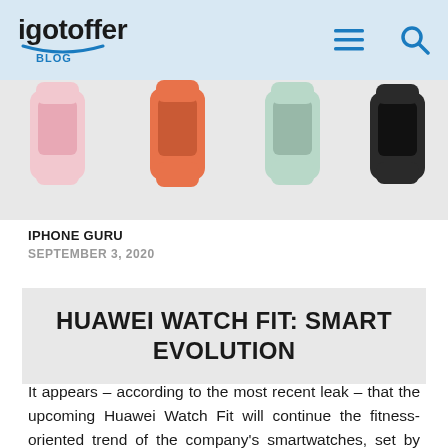igotoffer BLOG
[Figure (photo): Multiple Huawei Watch Fit smartwatches in different colors (pink, orange, mint green, black) displayed in a row showing their bands]
IPHONE GURU
SEPTEMBER 3, 2020
HUAWEI WATCH FIT: SMART EVOLUTION
It appears – according to the most recent leak – that the upcoming Huawei Watch Fit will continue the fitness-oriented trend of the company's smartwatches, set by Huawei's most